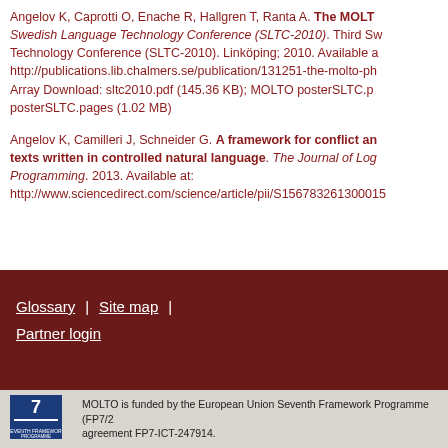Angelov K, Caprotti O, Enache R, Hallgren T, Ranta A. The MOLT Swedish Language Technology Conference (SLTC-2010). Third Swedish Language Technology Conference (SLTC-2010). Linköping; 2010. Available at: http://publications.lib.chalmers.se/publication/131251-the-molto-ph Array Download: sltc2010.pdf (145.36 KB); MOLTO posterSLTC.p posterSLTC.pages (1.02 MB)
Angelov K, Camilleri J, Schneider G. A framework for conflict analysis of texts written in controlled natural language. The Journal of Logic and Algebraic Programming. 2013. Available at: http://www.sciencedirect.com/science/article/pii/S156783261300015
Glossary | Site map | Partner login
MOLTO is funded by the European Union Seventh Framework Programme (FP7/2 agreement FP7-ICT-247914.